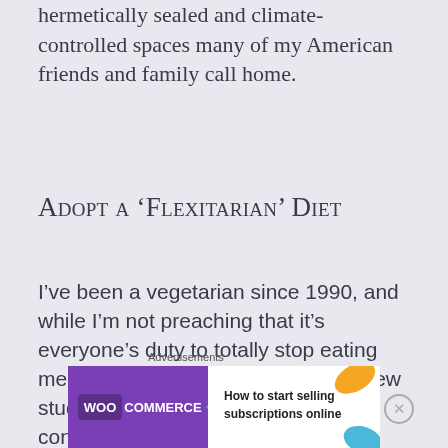hermetically sealed and climate-controlled spaces many of my American friends and family call home.
Adopt a ‘Flexitarian’ diet
I’ve been a vegetarian since 1990, and while I’m not preaching that it’s everyone’s duty to totally stop eating meat and other animal products, a new study on how food production and consumption impact major threats to the planet suggests that plant-
[Figure (other): WooCommerce advertisement banner: 'How to start selling subscriptions online']